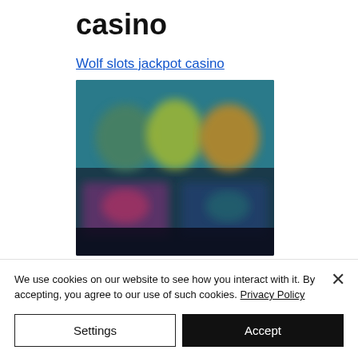casino
Wolf slots jackpot casino
[Figure (screenshot): Blurred screenshot of Wolf slots jackpot casino mobile app showing colorful slot game characters and game thumbnails on a dark background]
We use cookies on our website to see how you interact with it. By accepting, you agree to our use of such cookies. Privacy Policy
Settings
Accept